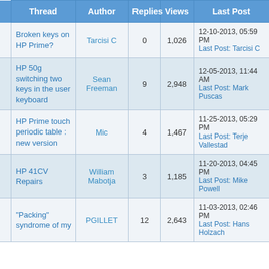| Thread | Author | Replies | Views | Last Post |
| --- | --- | --- | --- | --- |
| Broken keys on HP Prime? | Tarcisi C | 0 | 1,026 | 12-10-2013, 05:59 PM
Last Post: Tarcisi C |
| HP 50g switching two keys in the user keyboard | Sean Freeman | 9 | 2,948 | 12-05-2013, 11:44 AM
Last Post: Mark Puscas |
| HP Prime touch periodic table : new version | Mic | 4 | 1,467 | 11-25-2013, 05:29 PM
Last Post: Terje Vallestad |
| HP 41CV Repairs | William Mabotja | 3 | 1,185 | 11-20-2013, 04:45 PM
Last Post: Mike Powell |
| "Packing" syndrome of my | PGILLET | 12 | 2,643 | 11-03-2013, 02:46 PM
Last Post: Hans Holzach |